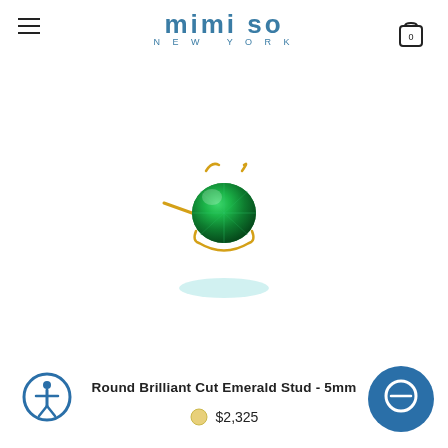mimi so NEW YORK
[Figure (photo): Single gold stud earring with a round brilliant cut emerald gemstone set in yellow gold prong setting, shown from a slight angle on white background.]
Round Brilliant Cut Emerald Stud - 5mm
$2,325